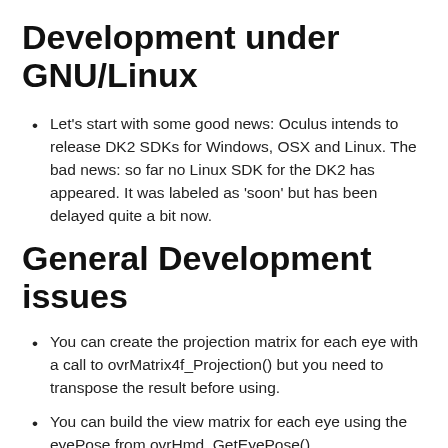Development under GNU/Linux
Let's start with some good news: Oculus intends to release DK2 SDKs for Windows, OSX and Linux. The bad news: so far no Linux SDK for the DK2 has appeared. It was labeled as 'soon' but has been delayed quite a bit now.
General Development issues
You can create the projection matrix for each eye with a call to ovrMatrix4f_Projection() but you need to transpose the result before using.
You can build the view matrix for each eye using the eyePose from ovrHmd_GetEyePose().